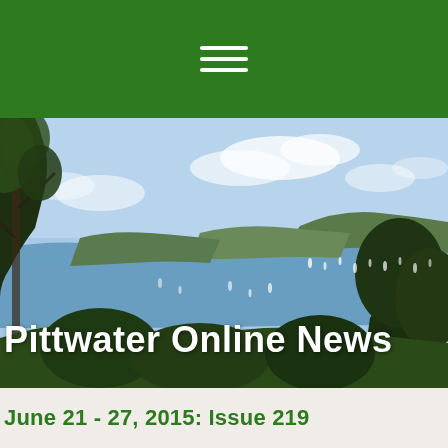[Figure (photo): Aerial/elevated landscape photograph showing a coastal waterway (likely Pittwater, NSW Australia) with trees in the foreground, blue water with sailboats, hills covered in bushland, and a partly cloudy blue sky.]
Pittwater Online News
June 21 - 27, 2015: Issue 219